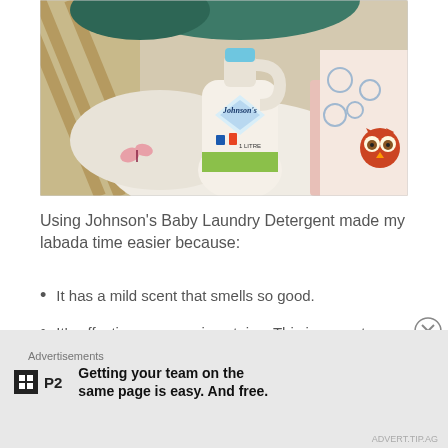[Figure (photo): Photo of Johnson's Baby Laundry Detergent bottle (1 Litre) placed on top of a pile of colorful baby clothes and fabric items including patterned cloths and cartoon character prints.]
Using Johnson's Baby Laundry Detergent made my labada time easier because:
It has a mild scent that smells so good.
It's effective on removing stains. This is a must
Advertisements
P2  Getting your team on the same page is easy. And free.